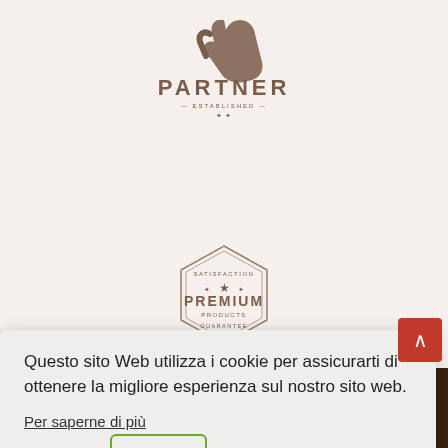[Figure (logo): Partner logo with hand icon and decorative text 'ESTABLISHED' beneath]
[Figure (logo): Premium products guarantee hexagonal badge stamp]
Questo sito Web utilizza i cookie per assicurarti di ottenere la migliore esperienza sul nostro sito web.
Per saperne di più
Declino
Accettare